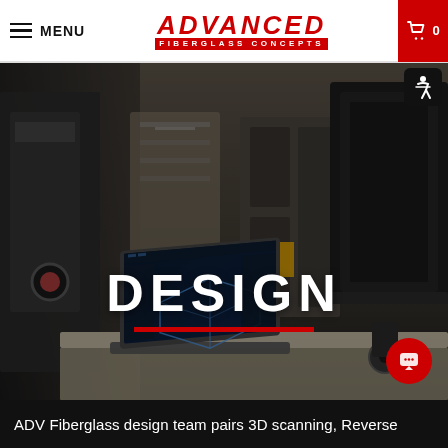MENU | ADVANCED FIBERGLASS CONCEPTS | 0
[Figure (photo): Industrial workshop interior with a laptop showing 3D CAD design software and a 3D scanner on a workbench, with manufacturing equipment and filing cabinets in the background. Overlay text reads DESIGN with a red underline.]
ADV Fiberglass design team pairs 3D scanning, Reverse